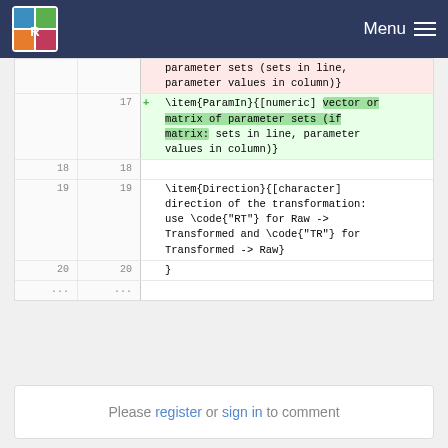Menu
parameter sets (sets in line, parameter values in column)}
+ 17  \item{ParamIn}{[numeric] vector or matrix of parameter sets (if matrix: sets in line, parameter values in column)}
18  18
19  19  \item{Direction}{[character] direction of the transformation: use \code{"RT"} for Raw -> Transformed and \code{"TR"} for Transformed -> Raw}
20  20  }
...  ...
Please register or sign in to comment